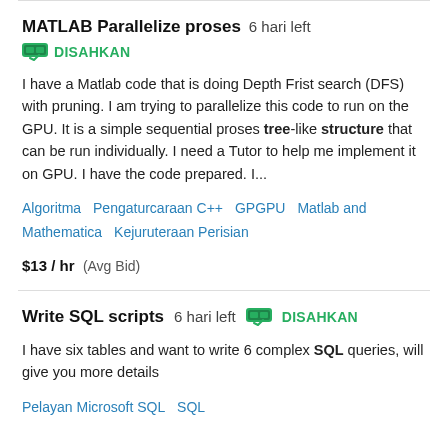MATLAB Parallelize proses  6 hari left
DISAHKAN
I have a Matlab code that is doing Depth Frist search (DFS) with pruning. I am trying to parallelize this code to run on the GPU. It is a simple sequential proses tree-like structure that can be run individually. I need a Tutor to help me implement it on GPU. I have the code prepared. I...
Algoritma   Pengaturcaraan C++   GPGPU   Matlab and Mathematica   Kejuruteraan Perisian
$13 / hr   (Avg Bid)
Write SQL scripts  6 hari left  DISAHKAN
I have six tables and want to write 6 complex SQL queries, will give you more details
Pelayan Microsoft SQL   SQL